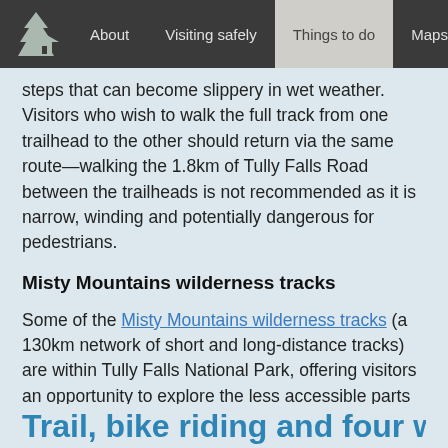About | Visiting safely | Things to do | Maps
steps that can become slippery in wet weather. Visitors who wish to walk the full track from one trailhead to the other should return via the same route—walking the 1.8km of Tully Falls Road between the trailheads is not recommended as it is narrow, winding and potentially dangerous for pedestrians.
Misty Mountains wilderness tracks
Some of the Misty Mountains wilderness tracks (a 130km network of short and long-distance tracks) are within Tully Falls National Park, offering visitors an opportunity to explore the less accessible parts of the Wet Tropics World Heritage Area. Some tracks are suitable only for bushwalkers, while others are shared tracks with mountain biking permitted.
Trail, bike riding and four wheel